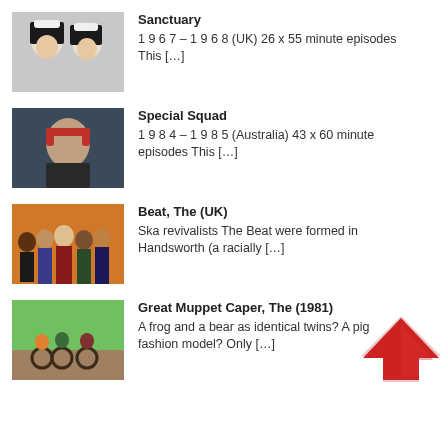Sanctuary
1 9 6 7 – 1 9 6 8 (UK) 26 x 55 minute episodes This […]
Special Squad
1 9 8 4 – 1 9 8 5 (Australia) 43 x 60 minute episodes This […]
Beat, The (UK)
Ska revivalists The Beat were formed in Handsworth (a racially […]
Great Muppet Caper, The (1981)
A frog and a bear as identical twins? A pig fashion model? Only […]